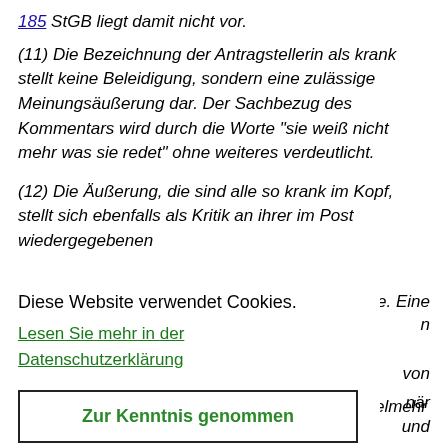185 StGB liegt damit nicht vor.
(11) Die Bezeichnung der Antragstellerin als krank stellt keine Beleidigung, sondern eine zulässige Meinungsäußerung dar. Der Sachbezug des Kommentars wird durch die Worte "sie weiß nicht mehr was sie redet" ohne weiteres verdeutlicht.
(12) Die Äußerung, die sind alle so krank im Kopf, stellt sich ebenfalls als Kritik an ihrer im Post wiedergegebenen
e. Eine
n
Diese Website verwendet Cookies.
Lesen Sie mehr in der Datenschutzerklärung
von
när
und
Zur Kenntnis genommen
abzielende Äußerung nicht gesehen werden. Vielmehr ist